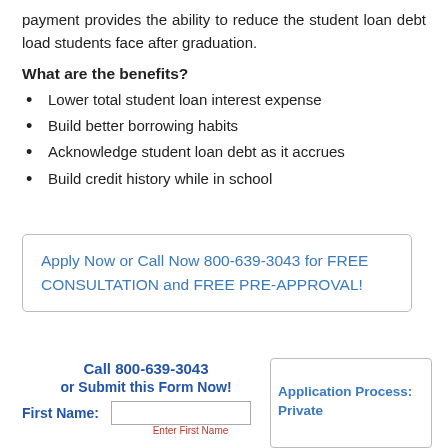payment provides the ability to reduce the student loan debt load students face after graduation.
What are the benefits?
Lower total student loan interest expense
Build better borrowing habits
Acknowledge student loan debt as it accrues
Build credit history while in school
Apply Now or Call Now 800-639-3043 for FREE CONSULTATION and FREE PRE-APPROVAL!
Call 800-639-3043
or Submit this Form Now!
First Name:
Application Process: Private